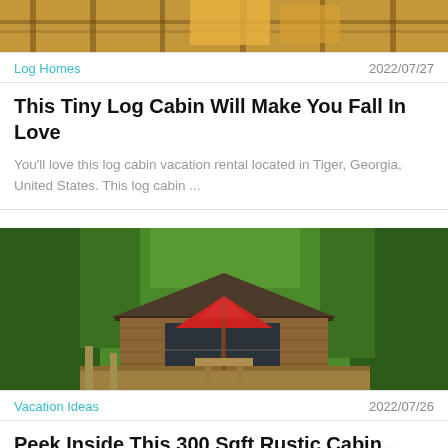[Figure (photo): Log cabin with wooden deck and warm interior lighting, viewed from outside]
Log Homes
2022/07/27
This Tiny Log Cabin Will Make You Fall In Love
You'll love this log cabin vacation rental located in Tiger, Georgia, United States. This log cabin ...
[Figure (photo): Rustic wooden cabin in forest with red patio umbrella and wooden deck]
Vacation Ideas
2022/07/26
Peek Inside This 300 Sqft Rustic Cabin...